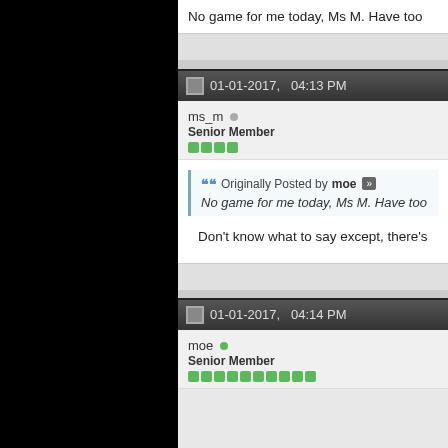No game for me today, Ms M. Have too
01-01-2017,   04:13 PM
ms_m
Senior Member
Originally Posted by moe
No game for me today, Ms M. Have too
Don't know what to say except, there's
01-01-2017,   04:14 PM
moe
Senior Member